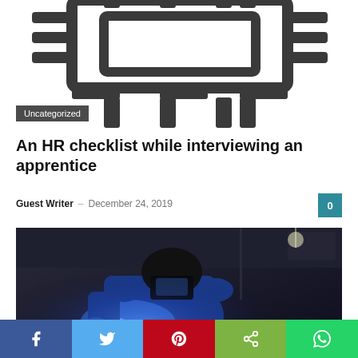[Figure (illustration): Dark robotic/mechanical figure illustration, stylized line art in dark gray on white background]
Uncategorized
An HR checklist while interviewing an apprentice
Guest Writer – December 24, 2019
[Figure (photo): Photo of a welder in blue overalls and welding mask, working with bright blue welding light in an industrial workshop]
Uncategorized
Social share bar: Facebook, Twitter, Pinterest, Share, WhatsApp